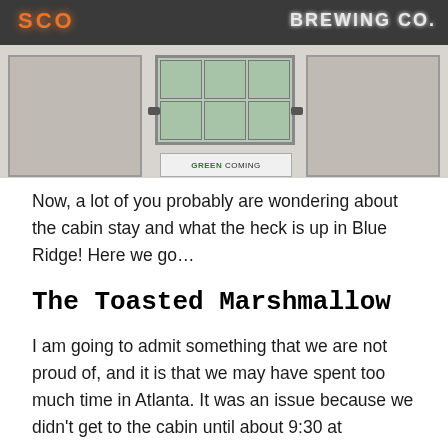[Figure (photo): Exterior photo of a brewing company building. The sign at the top shows 'BREWING CO' in illuminated orange and white letters on a dark background. The building facade is light-colored with large windows divided into panes in the center, and garage-style doors on left and right. A banner in the window reads 'GREEN COMING'.]
Now, a lot of you probably are wondering about the cabin stay and what the heck is up in Blue Ridge! Here we go…
The Toasted Marshmallow
I am going to admit something that we are not proud of, and it is that we may have spent too much time in Atlanta. It was an issue because we didn't get to the cabin until about 9:30 at